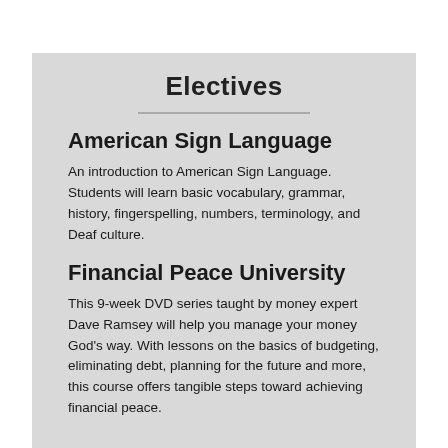Electives
American Sign Language
An introduction to American Sign Language. Students will learn basic vocabulary, grammar, history, fingerspelling, numbers, terminology, and Deaf culture.
Financial Peace University
This 9-week DVD series taught by money expert Dave Ramsey will help you manage your money God's way. With lessons on the basics of budgeting, eliminating debt, planning for the future and more, this course offers tangible steps toward achieving financial peace.